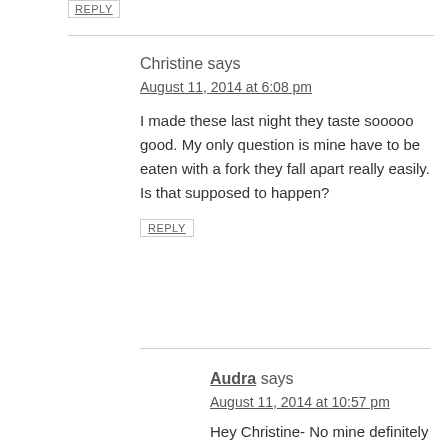REPLY
Christine says
August 11, 2014 at 6:08 pm
I made these last night they taste sooooo good. My only question is mine have to be eaten with a fork they fall apart really easily. Is that supposed to happen?
REPLY
Audra says
August 11, 2014 at 10:57 pm
Hey Christine- No mine definitely weren't